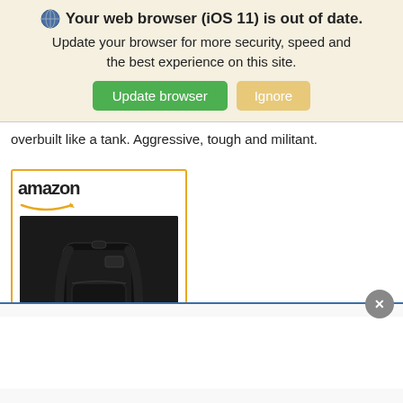[Figure (screenshot): Browser warning banner with globe icon, text 'Your web browser (iOS 11) is out of date. Update your browser for more security, speed and the best experience on this site.' with green 'Update browser' and tan 'Ignore' buttons]
overbuilt like a tank. Aggressive, tough and militant.
[Figure (other): Amazon advertisement box with Amazon logo, image of black tactical backpack, and link text 'MEWAY Military Tactical...']
[Figure (other): Bottom advertisement banner area with close (X) button and white content area]